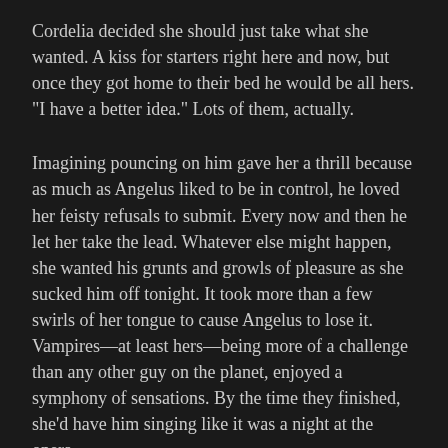Cordelia decided she should just take what she wanted. A kiss for starters right here and now, but once they got home to their bed he would be all hers. "I have a better idea." Lots of them, actually.
Imagining pouncing on him gave her a thrill because as much as Angelus liked to be in control, he loved her feisty refusals to submit. Every now and then he let her take the lead. Whatever else might happen, she wanted his grunts and growls of pleasure as she sucked him off tonight. It took more than a few swirls of her tongue to cause Angelus to lose it. Vampires—at least hers—being more of a challenge than any other guy on the planet, enjoyed a symphony of sensations. By the time they finished, she'd have him singing like it was a night at the opera.
Cordelia stepped close, pushing her hands between his open leather duster to press her palms against him, her fingers mapping the muscular angles of his abdomen and chest. Sliding them up to curl around his neck, she urged,